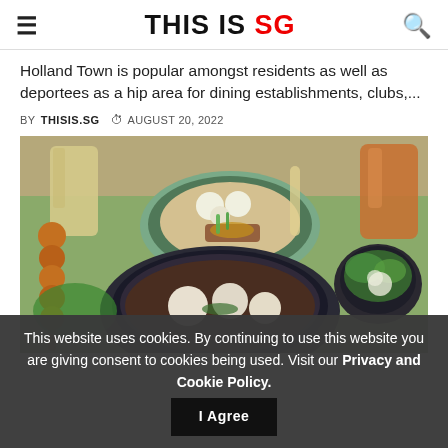THIS IS SG
Holland Town is popular amongst residents as well as deportees as a hip area for dining establishments, clubs,...
BY THISIS.SG  AUGUST 20, 2022
[Figure (photo): Food photo showing Thai-style noodle bowls with fish balls, meat skewers, garnishes and drinks on a table]
This website uses cookies. By continuing to use this website you are giving consent to cookies being used. Visit our Privacy and Cookie Policy.